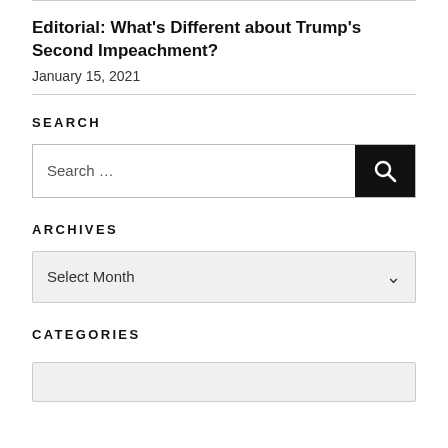Editorial: What's Different about Trump's Second Impeachment?
January 15, 2021
SEARCH
[Figure (other): Search input box with black search button icon]
ARCHIVES
[Figure (other): Select Month dropdown box]
CATEGORIES
[Figure (other): Partially visible Select Category dropdown box]